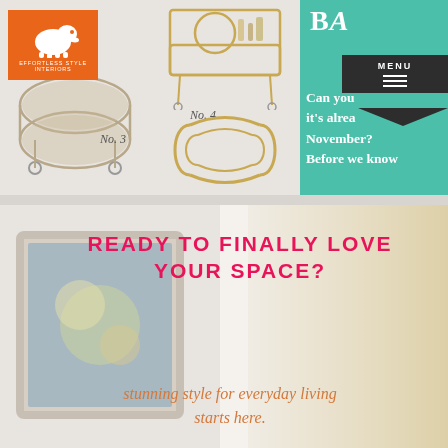[Figure (screenshot): Website screenshot showing bar carts labeled No. 3, No. 4 with Effortless Style Interiors orange elephant logo, a teal sidebar with text 'BA...Can you...it's alrea...November? Before we know' and a MENU banner]
READY TO FINALLY LOVE YOUR SPACE?
stunning style for everyday living starts here.